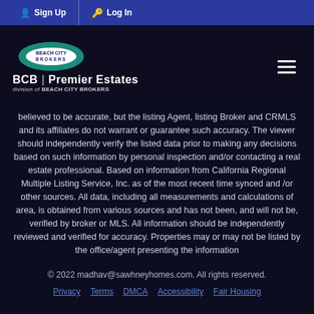Sign Up | Log In
[Figure (logo): Beach City Brokers oval logo with teal background and BCB | Premier Estates division text below]
believed to be accurate, but the listing Agent, listing Broker and CRMLS and its affiliates do not warrant or guarantee such accuracy. The viewer should independently verify the listed data prior to making any decisions based on such information by personal inspection and/or contacting a real estate professional. Based on information from California Regional Multiple Listing Service, Inc. as of the most recent time synced and /or other sources. All data, including all measurements and calculations of area, is obtained from various sources and has not been, and will not be, verified by broker or MLS. All information should be independently reviewed and verified for accuracy. Properties may or may not be listed by the office/agent presenting the information
© 2022 madhav@sawhneyhomes.com. All rights reserved.
Privacy  Terms  DMCA  Accessibility  Fair Housing